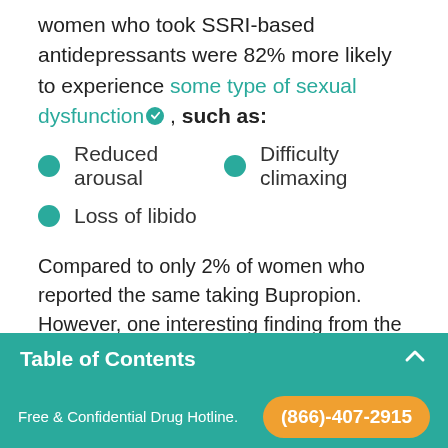women who took SSRI-based antidepressants were 82% more likely to experience some type of sexual dysfunction, such as:
Reduced arousal
Difficulty climaxing
Loss of libido
Compared to only 2% of women who reported the same taking Bupropion. However, one interesting finding from the same study found that women who left their depression untreated experienced the
women who took any type of antidepressants were
Free & Confidential Drug Hotline. (866)-407-2915